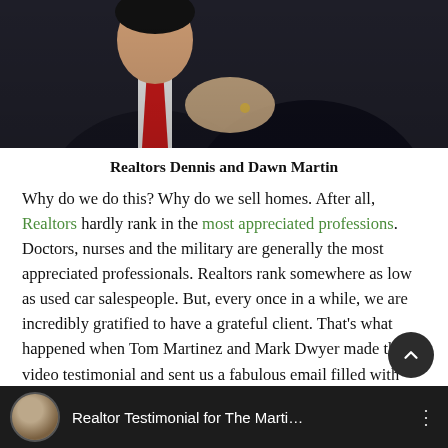[Figure (photo): Photo of Realtors Dennis and Dawn Martin in formal attire — man in dark suit with red tie, woman's hand visible]
Realtors Dennis and Dawn Martin
Why do we do this? Why do we sell homes. After all, Realtors hardly rank in the most appreciated professions. Doctors, nurses and the military are generally the most appreciated professionals. Realtors rank somewhere as low as used car salespeople. But, every once in a while, we are incredibly gratified to have a grateful client. That's what happened when Tom Martinez and Mark Dwyer made this video testimonial and sent us a fabulous email filled with their gratitude for their Realtors.
[Figure (screenshot): Video thumbnail showing a man and the title 'Realtor Testimonial for The Marti...' on a dark background]